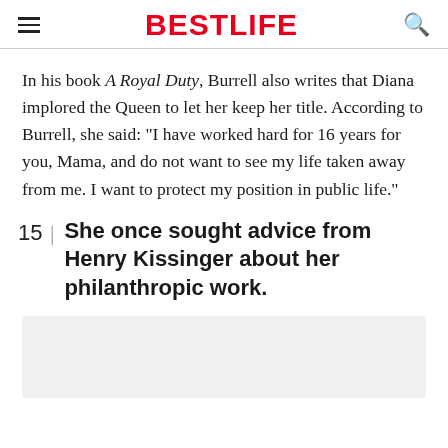BESTLIFE
In his book A Royal Duty, Burrell also writes that Diana implored the Queen to let her keep her title. According to Burrell, she said: "I have worked hard for 16 years for you, Mama, and do not want to see my life taken away from me. I want to protect my position in public life."
15 | She once sought advice from Henry Kissinger about her philanthropic work.
[Figure (photo): Grey placeholder image box]